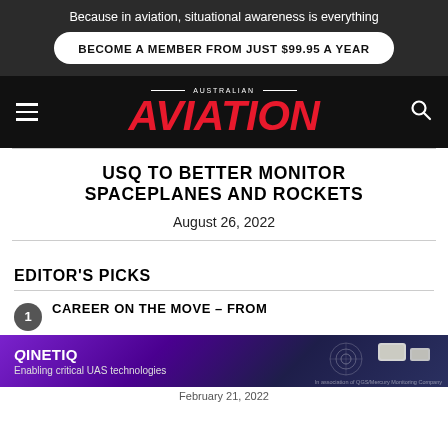Because in aviation, situational awareness is everything
BECOME A MEMBER FROM JUST $99.95 A YEAR
[Figure (logo): Australian Aviation magazine logo with red bold italic AVIATION text]
USQ TO BETTER MONITOR SPACEPLANES AND ROCKETS
August 26, 2022
EDITOR'S PICKS
CAREER ON THE MOVE – FROM
[Figure (photo): QinetiQ advertisement banner — purple/dark background with radar/UAS imagery, text: QinetiQ Enabling critical UAS technologies]
February 21, 2022